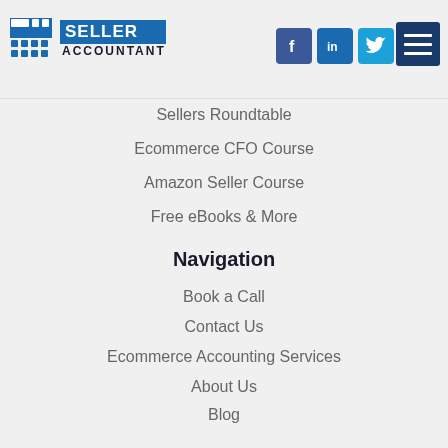Seller Accountant
Sellers Roundtable
Ecommerce CFO Course
Amazon Seller Course
Free eBooks & More
Navigation
Book a Call
Contact Us
Ecommerce Accounting Services
About Us
Blog
FAQs
Job Opportunities